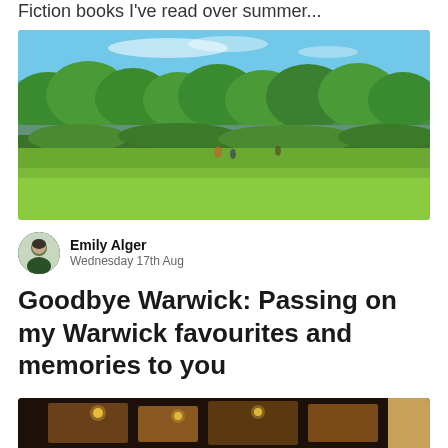Fiction books I've read over summer...
[Figure (photo): Outdoor landscape photo showing a sunny summer scene with bright blue sky, lush green trees and woodland in the background, a pond or small lake in the middle distance, and a broad green meadow/lawn in the foreground with a few people visible.]
Emily Alger
Wednesday 17th Aug
Goodbye Warwick: Passing on my Warwick favourites and memories to you
[Figure (photo): Bottom portion of a photo showing a warmly lit interior scene, possibly a pub or bar, with warm glowing string/Edison bulb lights and wooden furniture visible.]